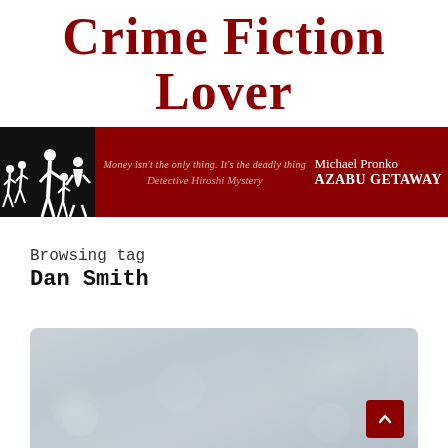Crime Fiction Lover
[Figure (illustration): Dark red banner ad for 'Azabu Getaway' by Michael Pronko, a Detective Hiroshi Mystery. Tagline: 'Money isn't the only thing. It's the deadly thing'. Shows white silhouette figures on black background on left side.]
Browsing tag
Dan Smith
[Figure (photo): Blurry winter/frost bokeh photograph in grey tones, partially visible at bottom of page. A small dark red scroll-up button is visible in the lower right corner.]